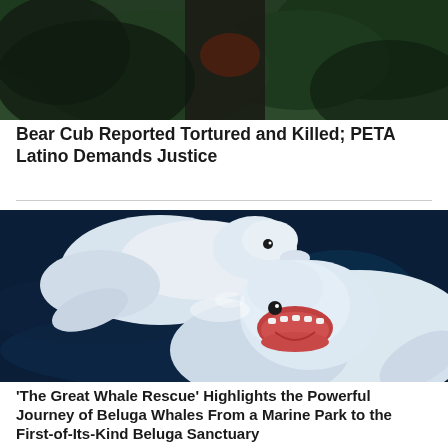[Figure (photo): Close-up of a dark bear partially visible against green foliage background, top portion of image only]
Bear Cub Reported Tortured and Killed; PETA Latino Demands Justice
[Figure (photo): Two white beluga whales in dark blue water, one in the background and one in the foreground with mouth open showing pink interior]
'The Great Whale Rescue' Highlights the Powerful Journey of Beluga Whales From a Marine Park to the First-of-Its-Kind Beluga Sanctuary